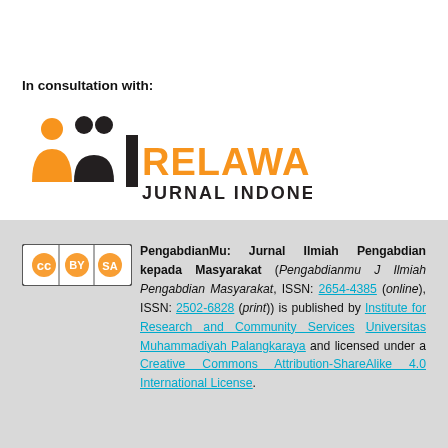In consultation with:
[Figure (logo): Relawan Jurnal Indonesia (RJI) logo with orange and black colors]
PengabdianMu: Jurnal Ilmiah Pengabdian kepada Masyarakat (Pengabdianmu J Ilmiah Pengabdian Masyarakat, ISSN: 2654-4385 (online), ISSN: 2502-6828 (print)) is published by Institute for Research and Community Services Universitas Muhammadiyah Palangkaraya and licensed under a Creative Commons Attribution-ShareAlike 4.0 International License.